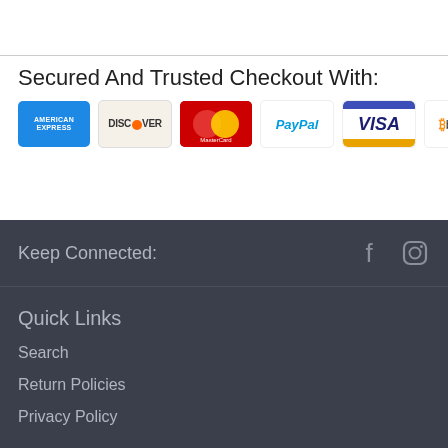[Figure (screenshot): Thumbnail image with dark background showing partial text]
Secured And Trusted Checkout With:
[Figure (infographic): Payment method icons: American Express, Discover, MasterCard, PayPal, Visa, Bitcoin]
Keep Connected:
[Figure (logo): Facebook and Instagram social media icons]
Quick Links
Search
Return Policies
Privacy Policy